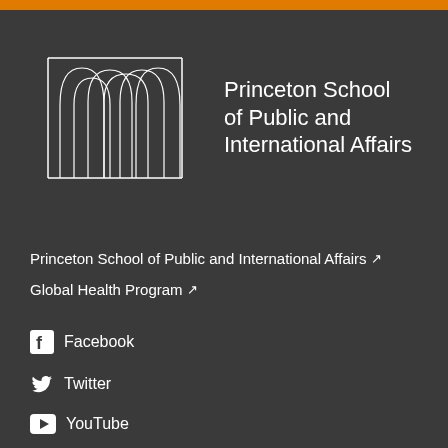[Figure (logo): Princeton School of Public and International Affairs logo — white architectural arch columns on dark background with school name text]
Princeton School of Public and International Affairs ↗
Global Health Program ↗
Facebook
Twitter
YouTube